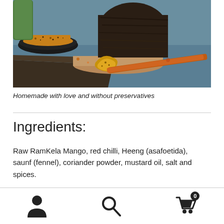[Figure (photo): Food photography showing a large block of raw/dried amchur (mango) on a wooden base, a dark bowl with spices and seeds, a dried mango piece, and a wooden spatula on a colorful blue surface with spices scattered around]
Homemade with love and without preservatives
Ingredients:
Raw RamKela Mango, red chilli, Heeng (asafoetida), saunf (fennel), coriander powder, mustard oil, salt and spices.
[user icon] [search icon] [cart icon with badge 0]